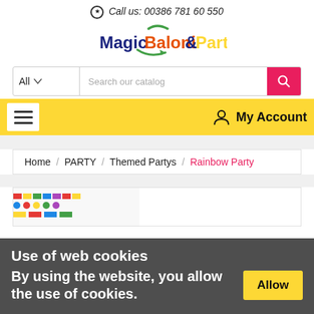Call us: 00386 781 60 550
[Figure (logo): MagicBaloni&Party logo with green arc and arrow graphic]
[Figure (screenshot): Search bar with All category dropdown and Search our catalog placeholder and red search button]
[Figure (screenshot): Yellow navigation bar with hamburger menu and My Account icon]
Home / PARTY / Themed Partys / Rainbow Party
[Figure (photo): Partial product image with colorful rainbow party items]
Use of web cookies
By using the website, you allow the use of cookies.